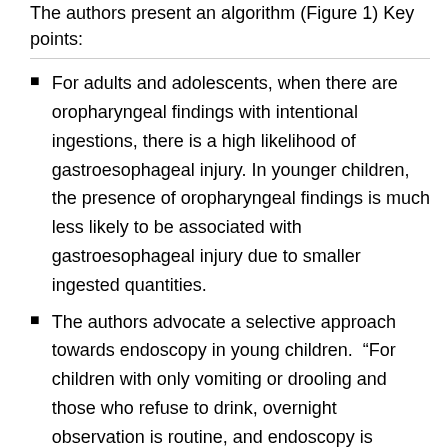The authors present an algorithm (Figure 1) Key points:
For adults and adolescents, when there are oropharyngeal findings with intentional ingestions, there is a high likelihood of gastroesophageal injury. In younger children, the presence of oropharyngeal findings is much less likely to be associated with gastroesophageal injury due to smaller ingested quantities.
The authors advocate a selective approach towards endoscopy in young children. “For children with only vomiting or drooling and those who refuse to drink, overnight observation is routine, and endoscopy is performed only if symptoms persist and the child remains unable to take oral fluids” If there is vomiting and drooling or stridor alone, endoscopy is recommended.